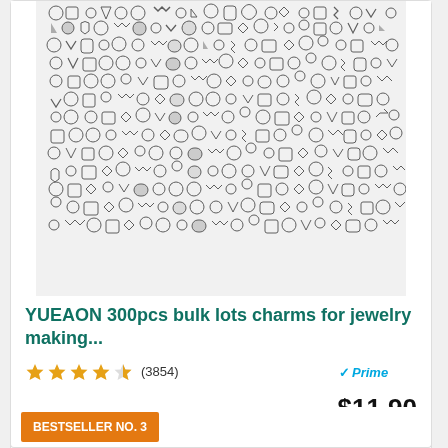[Figure (photo): Product photo showing a large collection of 300 silver/metal charms of various shapes including crosses, animals, stars, hearts, keys, flowers, anchors and other jewelry making charms arranged densely together.]
YUEAON 300pcs bulk lots charms for jewelry making...
4.5 stars (3854) Prime $11.90
Buy on Amazon
BESTSELLER NO. 3